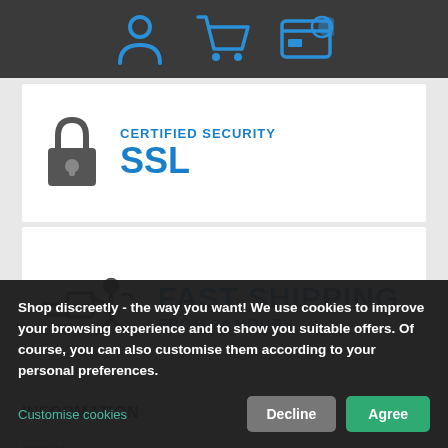[Figure (infographic): Top navigation bar with dark background showing three blue icons: user/profile icon, shopping cart icon, and payment/card icon]
[Figure (infographic): SSL Certified Security card with padlock icon and blue text reading CERTIFIED SECURITY SSL]
[Figure (infographic): Fast Shipping card with courier runner icon and blue text reading FAST SHIPPING FROM 24 HOURS]
INFORMATION
Imprint
Discretion
Shop discreetly - the way you want! We use cookies to improve your browsing experience and to show you suitable offers. Of course, you can also customise them according to your personal preferences.